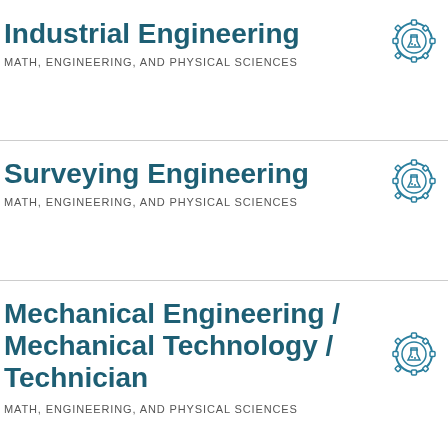Industrial Engineering
MATH, ENGINEERING, AND PHYSICAL SCIENCES
[Figure (illustration): Gear icon with flask/beaker inside, teal outline style]
Surveying Engineering
MATH, ENGINEERING, AND PHYSICAL SCIENCES
[Figure (illustration): Gear icon with flask/beaker inside, teal outline style]
Mechanical Engineering / Mechanical Technology / Technician
MATH, ENGINEERING, AND PHYSICAL SCIENCES
[Figure (illustration): Gear icon with flask/beaker inside, teal outline style]